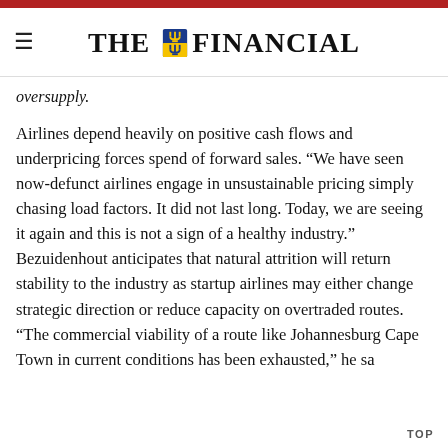THE FINANCIAL
oversupply.
Airlines depend heavily on positive cash flows and underpricing forces spend of forward sales. “We have seen now-defunct airlines engage in unsustainable pricing simply chasing load factors. It did not last long. Today, we are seeing it again and this is not a sign of a healthy industry.” Bezuidenhout anticipates that natural attrition will return stability to the industry as startup airlines may either change strategic direction or reduce capacity on overtraded routes. “The commercial viability of a route like Johannesburg Cape Town in current conditions has been exhausted,” he sa
TOP